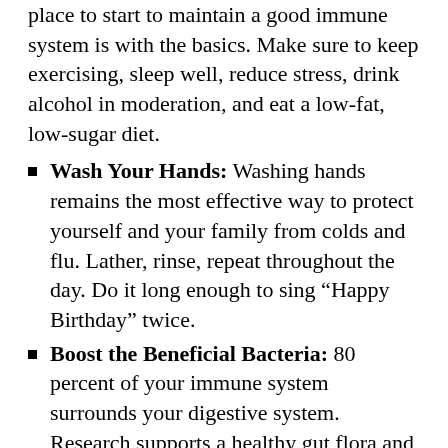place to start to maintain a good immune system is with the basics. Make sure to keep exercising, sleep well, reduce stress, drink alcohol in moderation, and eat a low-fat, low-sugar diet.
Wash Your Hands: Washing hands remains the most effective way to protect yourself and your family from colds and flu. Lather, rinse, repeat throughout the day. Do it long enough to sing “Happy Birthday” twice.
Boost the Beneficial Bacteria: 80 percent of your immune system surrounds your digestive system. Research supports a healthy gut flora and overall immunity. 1
Add Foods that Support Immune Health: There are many foods with medicinal properties, make sure you include as many as possible. Think about combining a lot of the ingredients below in chicken soup:
Oranges, strawberries, bell peppers,